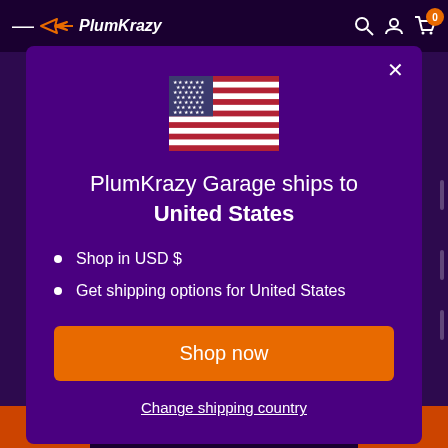PlumKrazy
[Figure (screenshot): PlumKrazy Garage shipping modal dialog on a dark purple background. Shows a US flag, heading text, bullet points about USD and shipping, an orange Shop now button, and a Change shipping country link.]
PlumKrazy Garage ships to United States
Shop in USD $
Get shipping options for United States
Shop now
Change shipping country
SUBSCRIBE NOW